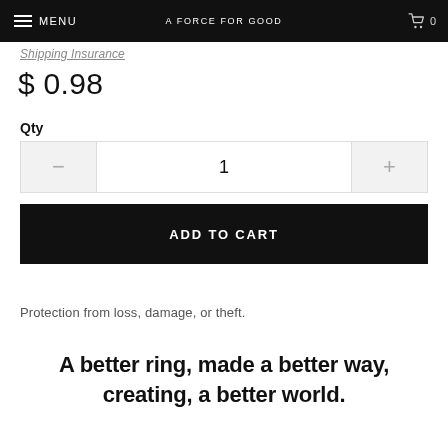MENU | A FORCE FOR GOOD | 0
Shipping Insurance
$ 0.98
Qty
1
ADD TO CART
Protection from loss, damage, or theft.
A better ring, made a better way, creating, a better world.